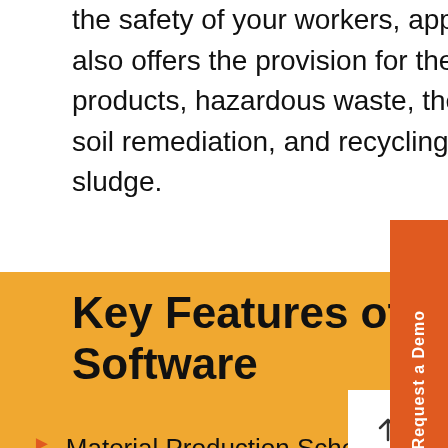the safety of your workers, applicators and end users. The software also offers the provision for the management of by-products, co-products, hazardous waste, their disposal and decommissioning, soil remediation, and recycling by-products like solvents and oily sludge.
Key Features of Oil and Gas ERP Software
Material Production Scheduling (MPS) Material Requirement Panning (MRP) for optimum crude oil procurement